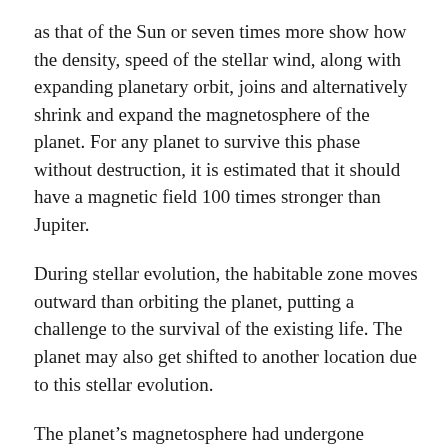as that of the Sun or seven times more show how the density, speed of the stellar wind, along with expanding planetary orbit, joins and alternatively shrink and expand the magnetosphere of the planet. For any planet to survive this phase without destruction, it is estimated that it should have a magnetic field 100 times stronger than Jupiter.
During stellar evolution, the habitable zone moves outward than orbiting the planet, putting a challenge to the survival of the existing life. The planet may also get shifted to another location due to this stellar evolution.
The planet’s magnetosphere had undergone different phases during its evolution. If the planet survives these extreme and sudden changes in the environment, life will develop during the white dwarf phase